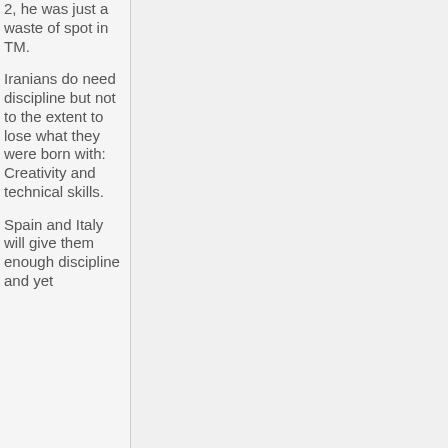2, he was just a waste of spot in TM.
Iranians do need discipline but not to the extent to lose what they were born with: Creativity and technical skills.
Spain and Italy will give them enough discipline and yet